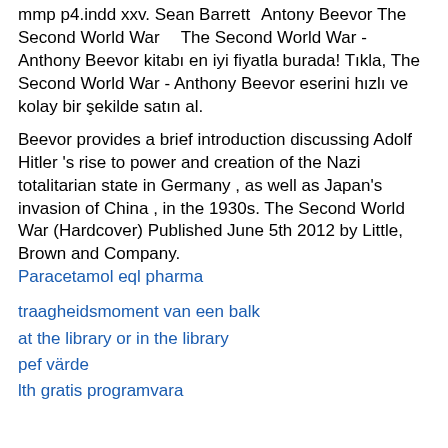mmp p4.indd xxv. Sean BarrettâââââAntony BeevorââThe Second World Warââââ â The Second World War - Anthony Beevor kitabı en iyi fiyatla burada! Tıkla, The Second World War - Anthony Beevor eserini hızlı ve kolay bir şekilde satın al.
Beevor provides a brief introduction discussing Adolf Hitler 's rise to power and creation of the Nazi totalitarian state in Germany , as well as Japan's invasion of China , in the 1930s. The Second World War (Hardcover) Published June 5th 2012 by Little, Brown and Company.
Paracetamol eql pharma
traagheidsmoment van een balk
at the library or in the library
pef värde
lth gratis programvara